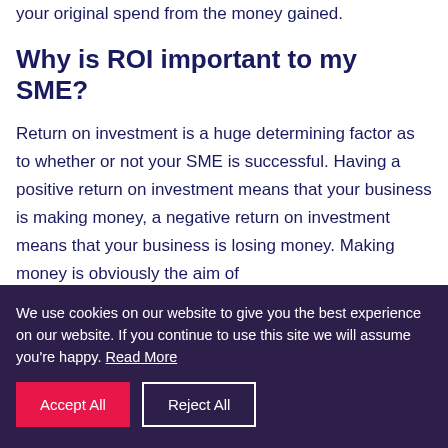your original spend from the money gained.
Why is ROI important to my SME?
Return on investment is a huge determining factor as to whether or not your SME is successful. Having a positive return on investment means that your business is making money, a negative return on investment means that your business is losing money. Making money is obviously the aim of
We use cookies on our website to give you the best experience on our website. If you continue to use this site we will assume you're happy. Read More
Accept All
Reject All